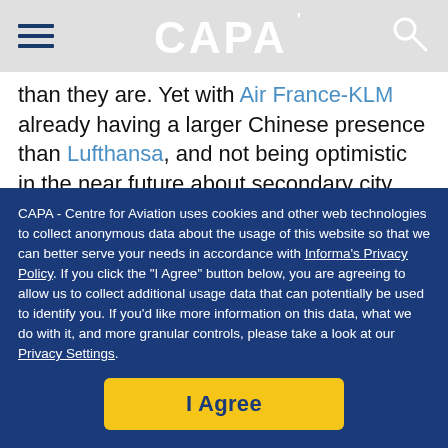CAPA
than they are. Yet with Air France-KLM already having a larger Chinese presence than Lufthansa, and not being optimistic in the near future about secondary city growth, they may find it acceptable - with little to lose - to maintain the status quo.
Beyond supporting the big three, Beijing's regulatory expansiveness will be tested if JVs are proposed amongst other airlines. British Airways and Finnair for example might
CAPA - Centre for Aviation uses cookies and other web technologies to collect anonymous data about the usage of this website so that we can better serve your needs in accordance with Informa's Privacy Policy. If you click the "I Agree" button below, you are agreeing to allow us to collect additional usage data that can potentially be used to identify you. If you'd like more information on this data, what we do with it, and more granular controls, please take a look at our Privacy Settings.
I Agree